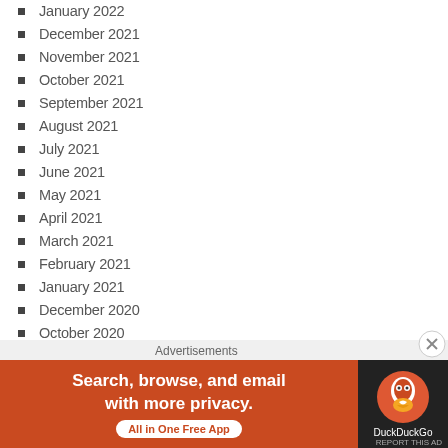January 2022
December 2021
November 2021
October 2021
September 2021
August 2021
July 2021
June 2021
May 2021
April 2021
March 2021
February 2021
January 2021
December 2020
October 2020
September 2020
[Figure (screenshot): DuckDuckGo advertisement banner: 'Search, browse, and email with more privacy. All in One Free App' with DuckDuckGo logo on dark background]
REPORT THIS AD